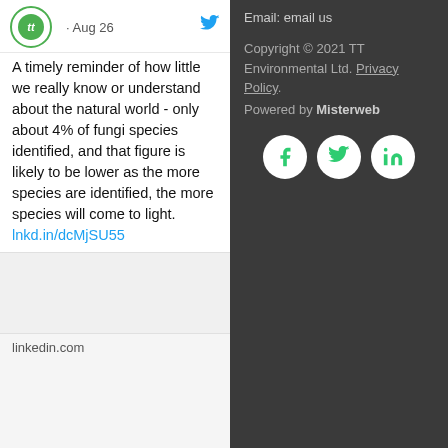· Aug 26
A timely reminder of how little we really know or understand about the natural world - only about 4% of fungi species identified, and that figure is likely to be lower as the more species are identified, the more species will come to light. lnkd.in/dcMjSU55
linkedin.com
Email: email us
Copyright © 2021 TT Environmental Ltd. Privacy Policy. Powered by Misterweb
[Figure (illustration): Three social media icon circles: Facebook (f), Twitter (bird), LinkedIn (in) in white on dark background]